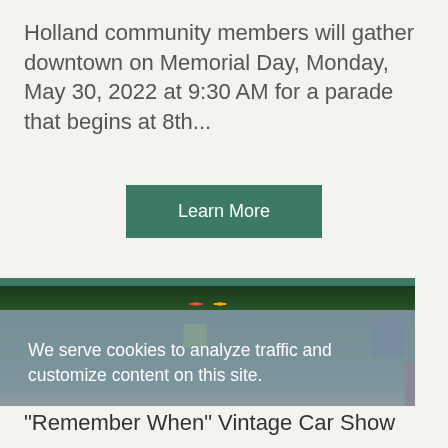Holland community members will gather downtown on Memorial Day, Monday, May 30, 2022 at 9:30 AM for a parade that begins at 8th...
Learn More
[Figure (photo): Street view photo showing a tree-lined road downtown, with traffic lights and signage visible]
We serve cookies to analyze traffic and customize content on this site. Privacy Policy | GDPR FAQ
Got it!
"Remember When" Vintage Car Show